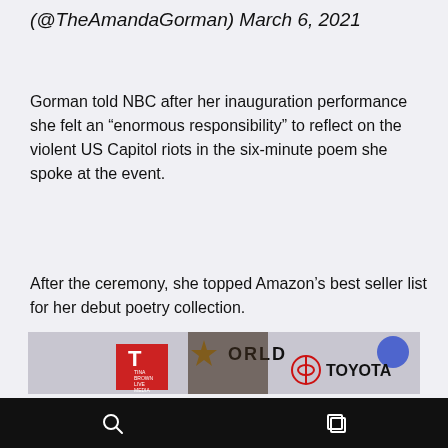(@TheAmandaGorman) March 6, 2021
Gorman told NBC after her inauguration performance she felt an “enormous responsibility” to reflect on the violent US Capitol riots in the six-minute poem she spoke at the event.
After the ceremony, she topped Amazon’s best seller list for her debut poetry collection.
[Figure (photo): Photo of Amanda Gorman at an event with Tina Brown Live Media and Toyota branding visible in the background. World logo also visible.]